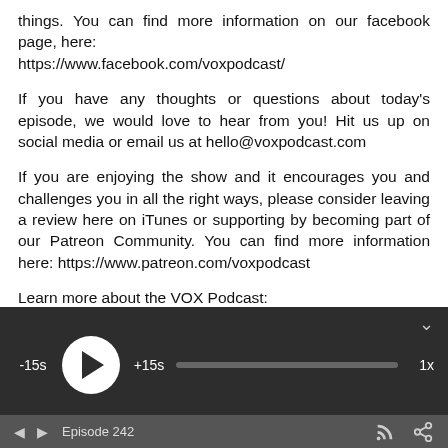things. You can find more information on our facebook page, here: https://www.facebook.com/voxpodcast/
If you have any thoughts or questions about today's episode, we would love to hear from you! Hit us up on social media or email us at hello@voxpodcast.com
If you are enjoying the show and it encourages you and challenges you in all the right ways, please consider leaving a review here on iTunes or supporting by becoming part of our Patreon Community. You can find more information here: https://www.patreon.com/voxpodcast
Learn more about the VOX Podcast:
[Figure (screenshot): Podcast audio player bar with play button, -15s and +15s skip buttons, progress bar, and 1x speed control on dark background]
[Figure (screenshot): Bottom navigation bar with previous/next episode arrows, Episode 242 label, RSS feed icon, and share icon]